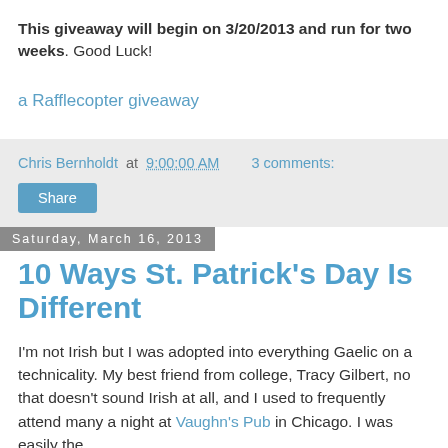This giveaway will begin on 3/20/2013 and run for two weeks. Good Luck!
a Rafflecopter giveaway
Chris Bernholdt at 9:00:00 AM   3 comments:
Share
Saturday, March 16, 2013
10 Ways St. Patrick's Day Is Different
I'm not Irish but I was adopted into everything Gaelic on a technicality. My best friend from college, Tracy Gilbert, no that doesn't sound Irish at all, and I used to frequently attend many a night at Vaughn's Pub in Chicago. I was easily the